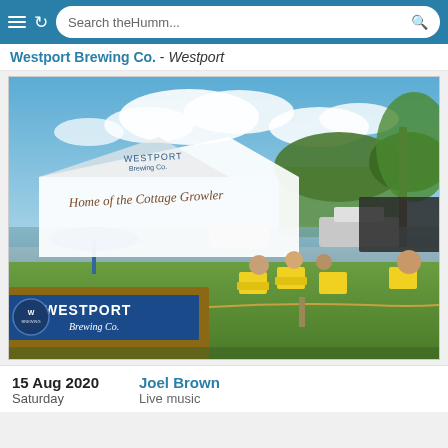Search theHumm...
Westport Brewing Co. - Westport
[Figure (photo): Outdoor beer garden scene at Westport Brewing Co. with a white tent reading 'Home of the Cottage Growler', yellow Adirondack chairs on green grass, people sitting, marina with boats in background, blue sky with clouds.]
15 Aug 2020 Saturday
Joel Brown Live music